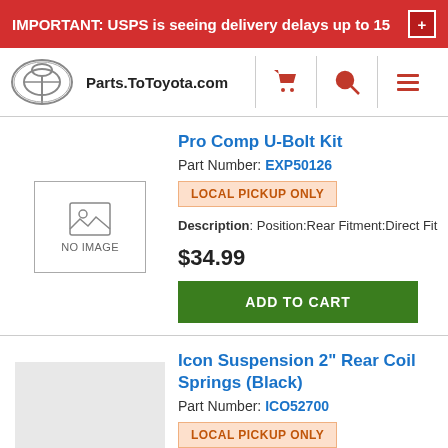IMPORTANT: USPS is seeing delivery delays up to 15 +
Parts.ToToyota.com
[Figure (illustration): Product listing: No Image placeholder]
Pro Comp U-Bolt Kit
Part Number: EXP50126
LOCAL PICKUP ONLY
Description: Position:Rear Fitment:Direct Fit
$34.99
ADD TO CART
[Figure (photo): Gray product image placeholder for Icon Suspension 2 inch Rear Coil Springs]
Icon Suspension 2" Rear Coil Springs (Black)
Part Number: ICO52700
LOCAL PICKUP ONLY
Description: 2" rear coil springs Sold as a pair Black